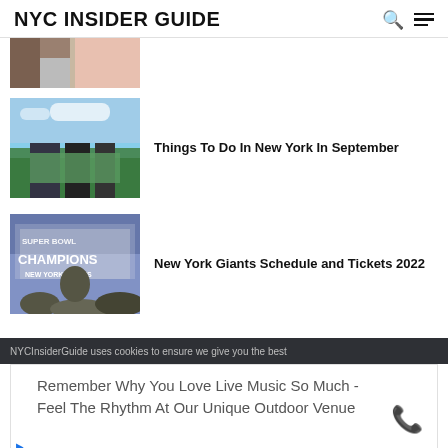NYC INSIDER GUIDE
[Figure (photo): Partial thumbnail image of people at top of page (cropped)]
[Figure (photo): Aerial photo of Central Park and New York City skyline]
Things To Do In New York In September
[Figure (photo): Photo of New York Giants Super Bowl Champions banner being held up by fans]
New York Giants Schedule and Tickets 2022
NYCInsiderGuide uses cookies to ensure we give you the best
Remember Why You Love Live Music So Much - Feel The Rhythm At Our Unique Outdoor Venue